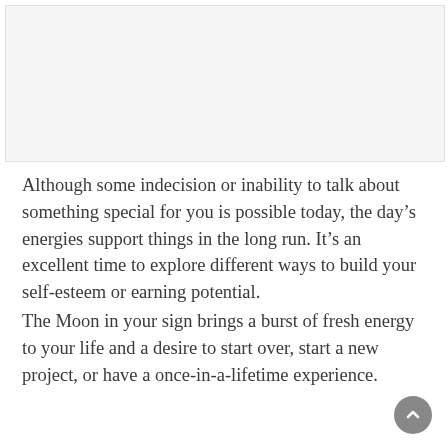[Figure (other): Image placeholder at top of page]
Although some indecision or inability to talk about something special for you is possible today, the day’s energies support things in the long run. It’s an excellent time to explore different ways to build your self-esteem or earning potential.
The Moon in your sign brings a burst of fresh energy to your life and a desire to start over, start a new project, or have a once-in-a-lifetime experience.